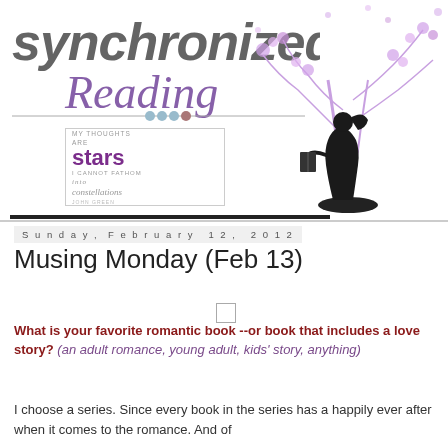[Figure (illustration): Synchronized Reading blog banner with stylized text logo, decorative purple tree with flowers, silhouette of girl reading a book, and a quote box reading 'My thoughts are stars I cannot fathom into constellations - John Green']
Sunday, February 12, 2012
Musing Monday (Feb 13)
What is your favorite romantic book --or book that includes a love story? (an adult romance, young adult, kids' story, anything)
I choose a series. Since every book in the series has a happily ever after when it comes to the romance. And of